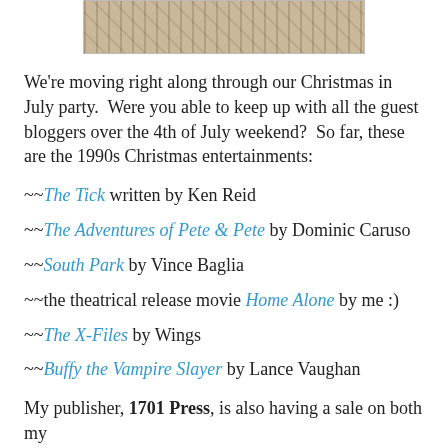[Figure (photo): Decorative image at the top of the page, appears to be a vintage or illustrated banner with floral/ornamental motifs on a tan/beige background.]
We're moving right along through our Christmas in July party. Were you able to keep up with all the guest bloggers over the 4th of July weekend? So far, these are the 1990s Christmas entertainments:
~~The Tick written by Ken Reid
~~The Adventures of Pete & Pete by Dominic Caruso
~~South Park by Vince Baglia
~~the theatrical release movie Home Alone by me :)
~~The X-Files by Wings
~~Buffy the Vampire Slayer by Lance Vaughan
My publisher, 1701 Press, is also having a sale on both my